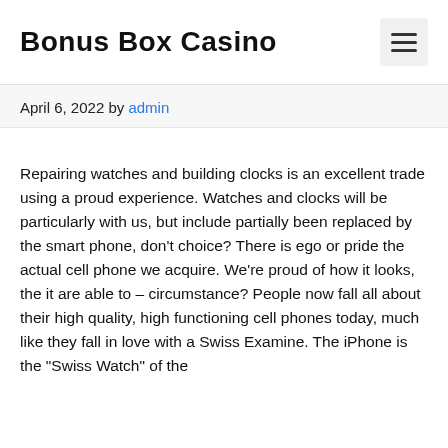Bonus Box Casino
April 6, 2022 by admin
Repairing watches and building clocks is an excellent trade using a proud experience. Watches and clocks will be particularly with us, but include partially been replaced by the smart phone, don’t choice? There is ego or pride the actual cell phone we acquire. We’re proud of how it looks, the it are able to – circumstance? People now fall all about their high quality, high functioning cell phones today, much like they fall in love with a Swiss Examine. The iPhone is the “Swiss Watch” of the